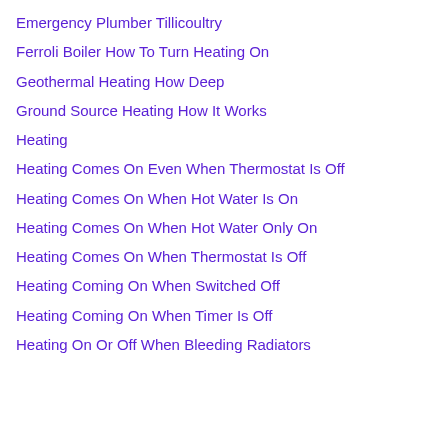Emergency Plumber Tillicoultry
Ferroli Boiler How To Turn Heating On
Geothermal Heating How Deep
Ground Source Heating How It Works
Heating
Heating Comes On Even When Thermostat Is Off
Heating Comes On When Hot Water Is On
Heating Comes On When Hot Water Only On
Heating Comes On When Thermostat Is Off
Heating Coming On When Switched Off
Heating Coming On When Timer Is Off
Heating On Or Off When Bleeding Radiators